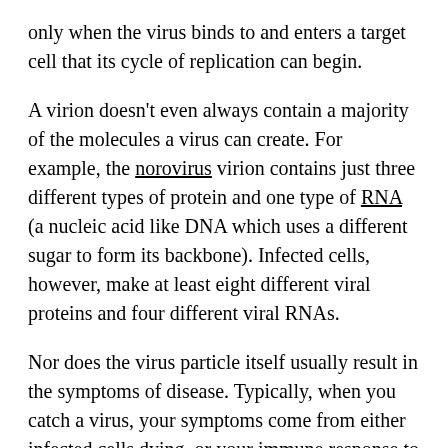only when the virus binds to and enters a target cell that its cycle of replication can begin.
A virion doesn't even always contain a majority of the molecules a virus can create. For example, the norovirus virion contains just three different types of protein and one type of RNA (a nucleic acid like DNA which uses a different sugar to form its backbone). Infected cells, however, make at least eight different viral proteins and four different viral RNAs.
Nor does the virus particle itself usually result in the symptoms of disease. Typically, when you catch a virus, your symptoms come from either infected cells dying, or your immune response to those infected cells.
For the...